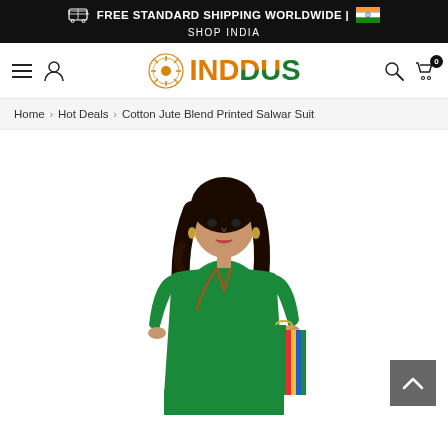FREE STANDARD SHIPPING WORLDWIDE | SHOP INDIA
[Figure (logo): INDDUS logo with decorative sun emblem, text in orange and green gradient colors]
Home › Hot Deals › Cotton Jute Blend Printed Salwar Suit
[Figure (photo): Woman model wearing a green Cotton Jute Blend Printed Salwar Suit with colorful dupatta border]